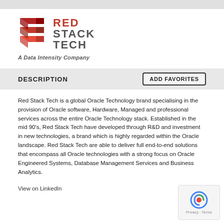[Figure (logo): Red Stack Tech logo with red geometric stacked blocks icon and red/grey 'RED STACK TECH' text, tagline 'A Data Intensity Company']
DESCRIPTION
Red Stack Tech is a global Oracle Technology brand specialising in the provision of Oracle software, Hardware, Managed and professional services across the entire Oracle Technology stack. Established in the mid 90's, Red Stack Tech have developed through R&D and investment in new technologies, a brand which is highly regarded within the Oracle landscape. Red Stack Tech are able to deliver full end-to-end solutions that encompass all Oracle technologies with a strong focus on Oracle Engineered Systems, Database Management Services and Business Analytics.
View on LinkedIn